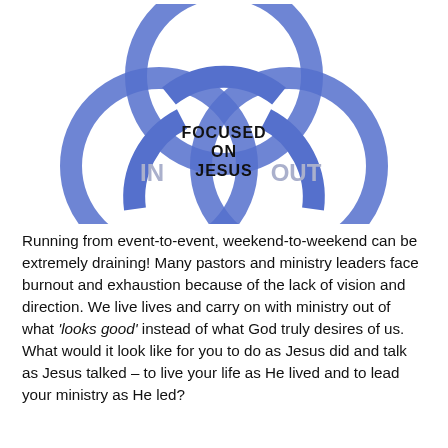[Figure (illustration): Triquetra / trinity knot diagram in blue with three interlocking circles/arcs forming a triangular knot shape. The center contains the text 'FOCUSED ON JESUS' in bold black. The lower-left lobe contains 'IN' in light gray, and the lower-right lobe contains 'OUT' in light gray.]
Running from event-to-event, weekend-to-weekend can be extremely draining! Many pastors and ministry leaders face burnout and exhaustion because of the lack of vision and direction. We live lives and carry on with ministry out of what 'looks good' instead of what God truly desires of us. What would it look like for you to do as Jesus did and talk as Jesus talked – to live your life as He lived and to lead your ministry as He led?